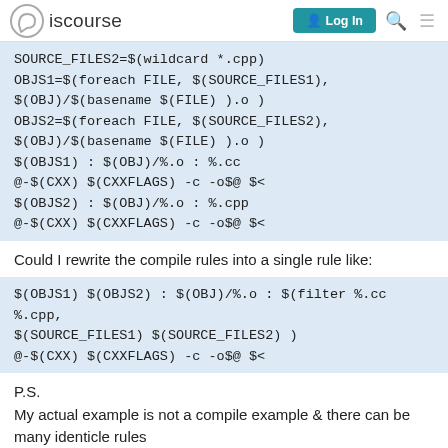Discourse | Log In
SOURCE_FILES2=$(wildcard *.cpp)
OBJS1=$(foreach FILE, $(SOURCE_FILES1), $(OBJ)/$(basename $(FILE) ).o )
OBJS2=$(foreach FILE, $(SOURCE_FILES2), $(OBJ)/$(basename $(FILE) ).o )
$(OBJS1) : $(OBJ)/%.o : %.cc
@-$(CXX) $(CXXFLAGS) -c -o$@ $<
$(OBJS2) : $(OBJ)/%.o : %.cpp
@-$(CXX) $(CXXFLAGS) -c -o$@ $<
Could I rewrite the compile rules into a single rule like:
$(OBJS1) $(OBJS2) : $(OBJ)/%.o : $(filter %.cc %.cpp, $(SOURCE_FILES1) $(SOURCE_FILES2) )
@-$(CXX) $(CXXFLAGS) -c -o$@ $<
P.S.
My actual example is not a compile example & there can be many identicle rules